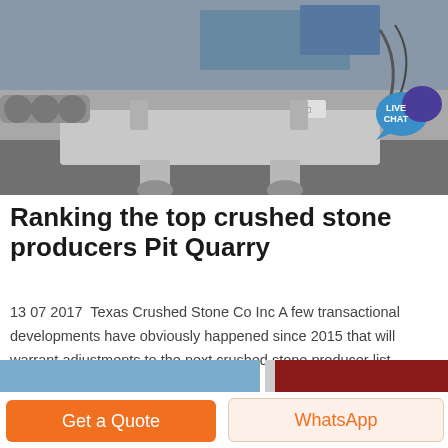[Figure (photo): Industrial crusher/quarry machine on factory floor, grey painted machinery with rollers and frame.]
Ranking the top crushed stone producers Pit Quarry
13 07 2017  Texas Crushed Stone Co Inc A few transactional developments have obviously happened since 2015 that will warrant adjustments to the next crushed stone producer list USGS publishes including...
Click to chat
[Figure (photo): Partial view of another machinery image at the bottom of the page.]
Get a Quote
WhatsApp